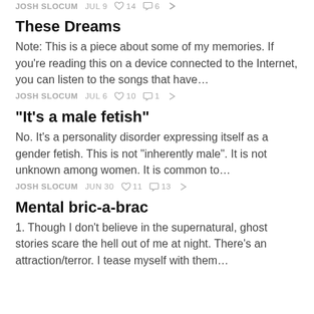JOSH SLOCUM   JUL 9   ♡ 14   ⌂ 6   ↗
These Dreams
Note: This is a piece about some of my memories. If you're reading this on a device connected to the Internet, you can listen to the songs that have…
JOSH SLOCUM   JUL 6   ♡ 10   ⌂ 1   ↗
"It's a male fetish"
No. It's a personality disorder expressing itself as a gender fetish. This is not "inherently male". It is not unknown among women. It is common to…
JOSH SLOCUM   JUN 30   ♡ 11   ⌂ 13   ↗
Mental bric-a-brac
1. Though I don't believe in the supernatural, ghost stories scare the hell out of me at night. There's an attraction/terror. I tease myself with them…